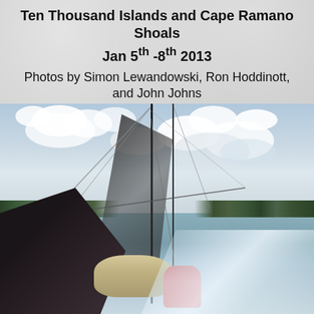Ten Thousand Islands and Cape Ramano Shoals
Jan 5th -8th 2013
Photos by Simon Lewandowski, Ron Hoddinott, and John Johns
[Figure (photo): View from the deck of a sailboat traveling through a wide calm waterway flanked by mangrove forests on both sides, with a cloudy sky overhead and a person seated at the stern. The boat's mast, rigging, and furled sail are visible in the foreground.]